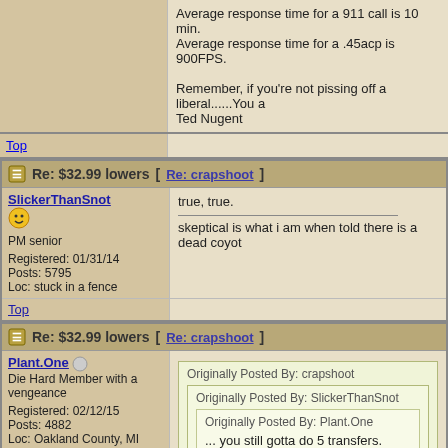Average response time for a 911 call is 10 min.
Average response time for a .45acp is 900FPS.

Remember, if you're not pissing off a liberal......You a
Ted Nugent
Top
Re: $32.99 lowers [Re: crapshoot]
SlickerThanSnot
PM senior
Registered: 01/31/14
Posts: 5795
Loc: stuck in a fence
true, true.

skeptical is what i am when told there is a dead cayot
Top
Re: $32.99 lowers [Re: crapshoot]
Plant.One
Die Hard Member with a vengeance
Registered: 02/12/15
Posts: 4882
Loc: Oakland County, MI
Originally Posted By: crapshoot
Originally Posted By: SlickerThanSnot
Originally Posted By: Plant.One
... you still gotta do 5 transfers.